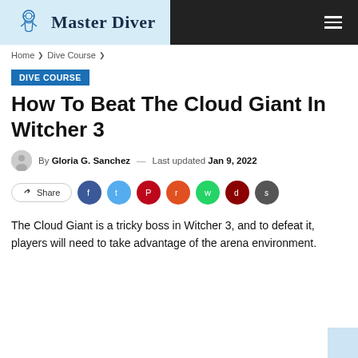Master Diver
Home  ❯  Dive Course  ❯
DIVE COURSE
How To Beat The Cloud Giant In Witcher 3
By Gloria G. Sanchez — Last updated Jan 9, 2022
Share
The Cloud Giant is a tricky boss in Witcher 3, and to defeat it, players will need to take advantage of the arena environment.